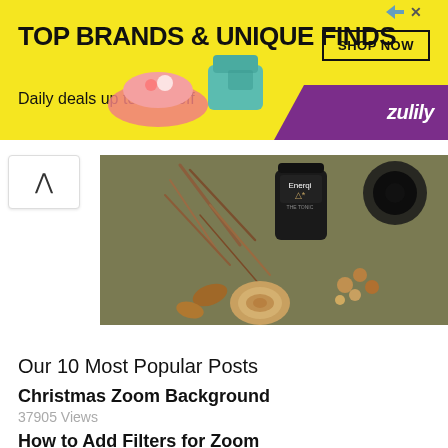[Figure (infographic): Yellow advertisement banner for Zulily: TOP BRANDS & UNIQUE FINDS, Daily deals up to 70% off, SHOP NOW button, purple Zulily logo, product images of shoe and teal purse]
[Figure (photo): Overhead flat lay photo on olive/khaki background showing herbs, roots, black flower, a dark product jar labeled 'Enerqi', small seeds or nuts, and a dried slice of root]
Our 10 Most Popular Posts
Christmas Zoom Background
37905 Views
How to Add Filters for Zoom
23826 Views